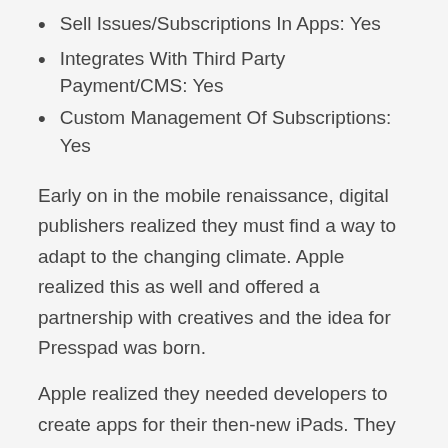Sell Issues/Subscriptions In Apps: Yes
Integrates With Third Party Payment/CMS: Yes
Custom Management Of Subscriptions: Yes
Early on in the mobile renaissance, digital publishers realized they must find a way to adapt to the changing climate. Apple realized this as well and offered a partnership with creatives and the idea for Presspad was born.
Apple realized they needed developers to create apps for their then-new iPads. They reached out to Presspad's CEO, offering them the opportunity to help people publish Apple apps, for free, to the App Store.
Presspad is a great choice if you're looking to